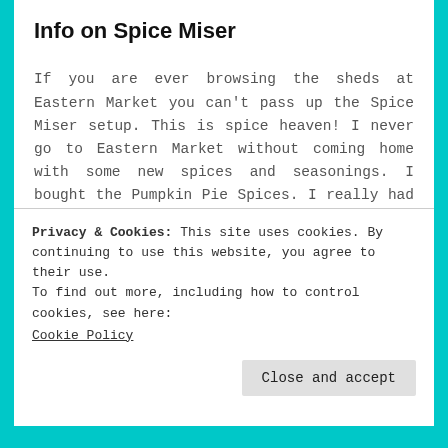Info on Spice Miser
If you are ever browsing the sheds at Eastern Market you can’t pass up the Spice Miser setup. This is spice heaven! I never go to Eastern Market without coming home with some new spices and seasonings. I bought the Pumpkin Pie Spices. I really had no clue what I would do with it at the time I bought it but I figured I could put it to good use somehow.
So what’s inside?
Privacy & Cookies: This site uses cookies. By continuing to use this website, you agree to their use.
To find out more, including how to control cookies, see here: Cookie Policy
Close and accept